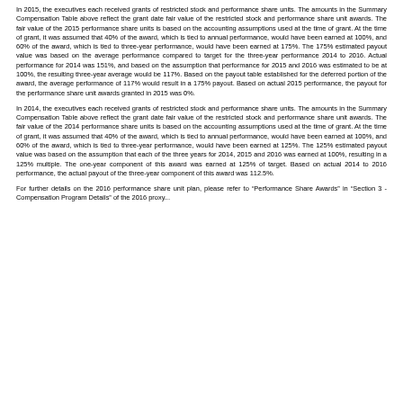In 2015, the executives each received grants of restricted stock and performance share units. The amounts in the Summary Compensation Table above reflect the grant date fair value of the restricted stock and performance share unit awards. The fair value of the 2015 performance share units is based on the accounting assumptions used at the time of grant. At the time of grant, it was assumed that 40% of the award, which is tied to annual performance, would have been earned at 100%, and 60% of the award, which is tied to three-year performance, would have been earned at 175%. The 175% estimated payout value was based on the average performance compared to target for the three-year performance 2014 to 2016. Actual performance for 2014 was 151%, and based on the assumption that performance for 2015 and 2016 was estimated to be at 100%, the resulting three-year average would be 117%. Based on the payout table established for the deferred portion of the award, the average performance of 117% would result in a 175% payout. Based on actual 2015 performance, the payout for the performance share unit awards granted in 2015 was 0%.
In 2014, the executives each received grants of restricted stock and performance share units. The amounts in the Summary Compensation Table above reflect the grant date fair value of the restricted stock and performance share unit awards. The fair value of the 2014 performance share units is based on the accounting assumptions used at the time of grant. At the time of grant, it was assumed that 40% of the award, which is tied to annual performance, would have been earned at 100%, and 60% of the award, which is tied to three-year performance, would have been earned at 125%. The 125% estimated payout value was based on the assumption that each of the three years for 2014, 2015 and 2016 was earned at 100%, resulting in a 125% multiple. The one-year component of this award was earned at 125% of target. Based on actual 2014 to 2016 performance, the actual payout of the three-year component of this award was 112.5%.
For further details on the 2016 performance share unit plan, please refer to "Performance Share Awards" in "Section 3 - Compensation Program Details" of the 2016 proxy...